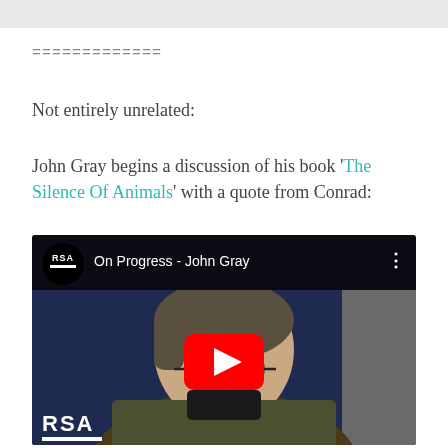=============
Not entirely unrelated:
John Gray begins a discussion of his book ‘The Silence Of Animals’ with a quote from Conrad:
[Figure (screenshot): YouTube video thumbnail showing RSA video titled 'On Progress - John Gray', featuring a middle-aged man with glasses and dark hair wearing a tweed jacket, with a red YouTube play button overlay in the center.]